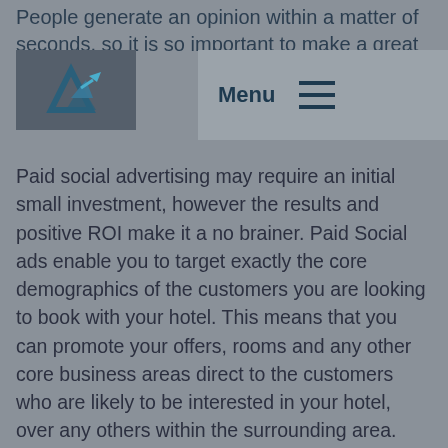People generate an opinion within a matter of seconds, so it is so important to make a great first impression.
[Figure (logo): Company logo with angular blue/teal geometric shape with arrow-like design]
Menu
Paid social advertising may require an initial small investment, however the results and positive ROI make it a no brainer. Paid Social ads enable you to target exactly the core demographics of the customers you are looking to book with your hotel. This means that you can promote your offers, rooms and any other core business areas direct to the customers who are likely to be interested in your hotel, over any others within the surrounding area.
Just remember, every post you make is a representation of your brand so make it count!